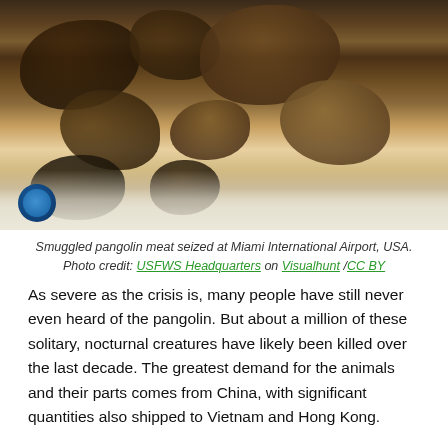[Figure (photo): Photograph of smuggled pangolin meat seized at Miami International Airport, USA. Dark brown, dried meat pieces in a plastic bag on a white surface.]
Smuggled pangolin meat seized at Miami International Airport, USA. Photo credit: USFWS Headquarters on Visualhunt /CC BY
As severe as the crisis is, many people have still never even heard of the pangolin. But about a million of these solitary, nocturnal creatures have likely been killed over the last decade. The greatest demand for the animals and their parts comes from China, with significant quantities also shipped to Vietnam and Hong Kong.
Another 10 years' poaching at current levels could wipe out the last critically endangered Chinese (M. pentadactyla) and Malayan (M. javanica) pangolins